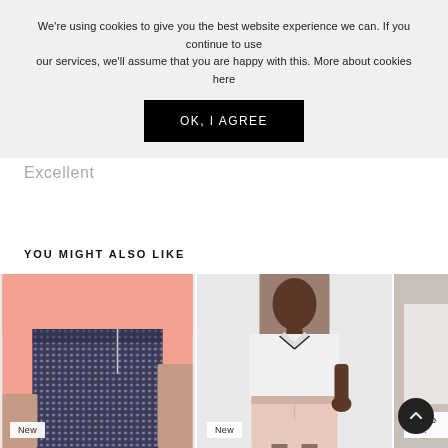We're using cookies to give you the best website experience we can. If you continue to use our services, we'll assume that you are happy with this. More about cookies here
OK, I AGREE
Excellent
YOU MIGHT ALSO LIKE
[Figure (photo): Person wearing blue/white patterned skirt and pink long-sleeve top, with New badge]
[Figure (photo): Woman wearing white sleeveless polo and pale pink pencil skirt, with New badge]
[Figure (photo): Partial third product item with Narro w... badge]